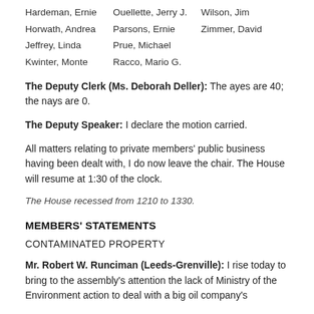Hardeman, Ernie    Ouellette, Jerry J.    Wilson, Jim
Horwath, Andrea    Parsons, Ernie    Zimmer, David
Jeffrey, Linda    Prue, Michael
Kwinter, Monte    Racco, Mario G.
The Deputy Clerk (Ms. Deborah Deller): The ayes are 40; the nays are 0.
The Deputy Speaker: I declare the motion carried.
All matters relating to private members' public business having been dealt with, I do now leave the chair. The House will resume at 1:30 of the clock.
The House recessed from 1210 to 1330.
MEMBERS' STATEMENTS
CONTAMINATED PROPERTY
Mr. Robert W. Runciman (Leeds-Grenville): I rise today to bring to the assembly's attention the lack of Ministry of the Environment action to deal with a big oil company's